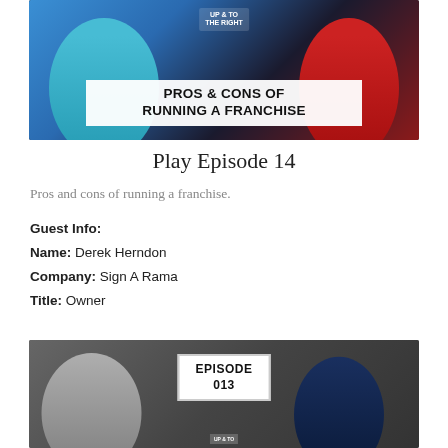[Figure (photo): Thumbnail image for Episode 14 showing two people on a talk show set. Left person in teal shirt, right person in red shirt. Text overlay reads PROS & CONS OF RUNNING A FRANCHISE. Show logo UP & TO THE RIGHT visible in background.]
Play Episode 14
Pros and cons of running a franchise.
Guest Info:
Name: Derek Herndon
Company: Sign A Rama
Title: Owner
[Figure (photo): Thumbnail image for Episode 013 showing two people on a talk show set. Left person in grey suit, right person in dark suit. White badge reads EPISODE 013.]